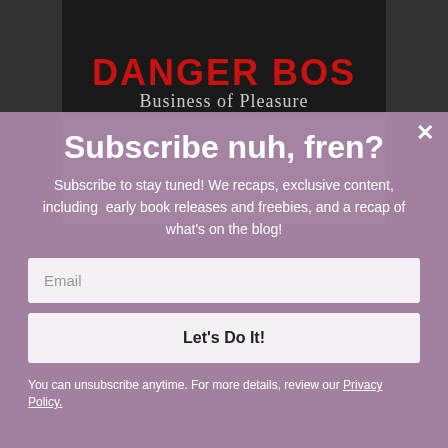[Figure (illustration): Book cover showing 'Business of Pleasure' title with dark background, partially visible at top]
Subscribe nuh, fren?
Subscribe to stay tuned! We recaps, exclusive content, including early book releases and freebies, and a recap of what's on the blog!
Email
Let's Do It!
You can unsubscribe anytime. For more details, review our Privacy Policy.